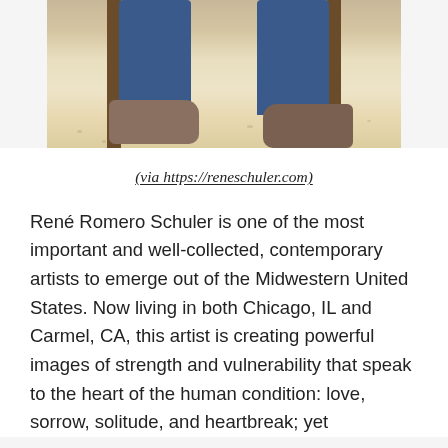[Figure (photo): Partial photo of a person seated on a wooden stool, showing only the lower body — blue jeans and brown boots on a light beige studio floor]
(via https://reneschuler.com)
René Romero Schuler is one of the most important and well-collected, contemporary artists to emerge out of the Midwestern United States. Now living in both Chicago, IL and Carmel, CA, this artist is creating powerful images of strength and vulnerability that speak to the heart of the human condition: love, sorrow, solitude, and heartbreak; yet